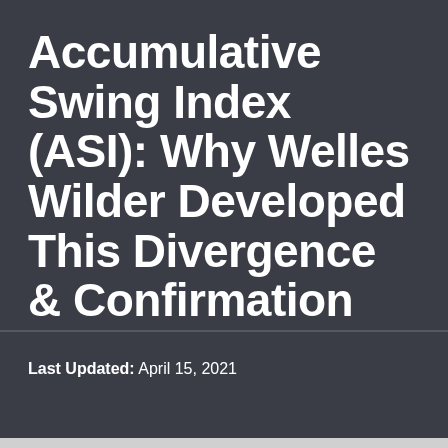Accumulative Swing Index (ASI): Why Welles Wilder Developed This Divergence & Confirmation Tool
Last Updated: April 15, 2021